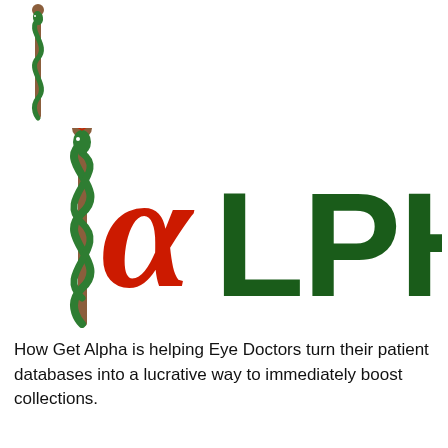[Figure (logo): Small caduceus/rod of Asclepius staff with green snake and brown rod at top left]
[Figure (logo): Alpha medical logo: rod of Asclepius with green snake wrapped around brown staff on the left, red cursive alpha symbol overlapping, followed by large dark green bold letters LPHA]
How Get Alpha is helping Eye Doctors turn their patient databases into a lucrative way to immediately boost collections.